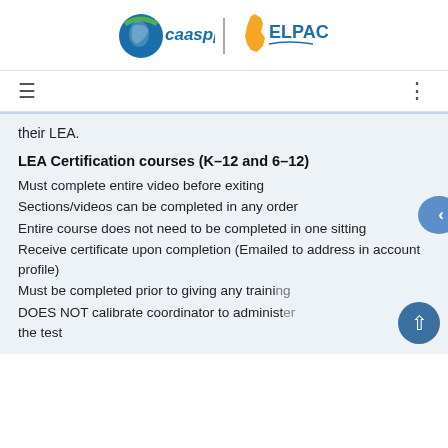[Figure (logo): CAASPP and ELPAC logos side by side with a vertical divider]
Navigation bar with hamburger menu icon and vertical dots menu icon
their LEA.
LEA Certification courses (K–12 and 6–12)
Must complete entire video before exiting
Sections/videos can be completed in any order
Entire course does not need to be completed in one sitting
Receive certificate upon completion (Emailed to address in account profile)
Must be completed prior to giving any training
DOES NOT calibrate coordinator to administer the test